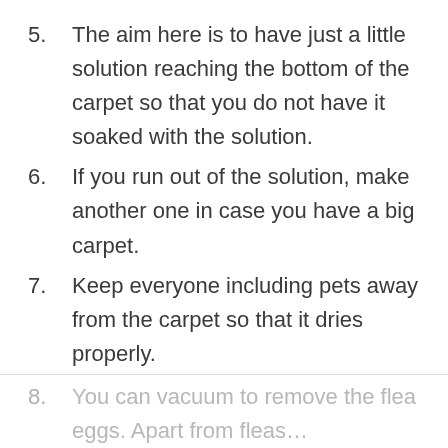5. The aim here is to have just a little solution reaching the bottom of the carpet so that you do not have it soaked with the solution.
6. If you run out of the solution, make another one in case you have a big carpet.
7. Keep everyone including pets away from the carpet so that it dries properly.
8. You can vacuum to remove the flea eggs. Apart from fleas…